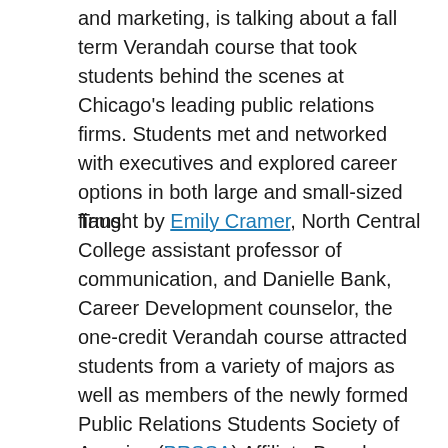and marketing, is talking about a fall term Verandah course that took students behind the scenes at Chicago's leading public relations firms. Students met and networked with executives and explored career options in both large and small-sized firms.
Taught by Emily Cramer, North Central College assistant professor of communication, and Danielle Bank, Career Development counselor, the one-credit Verandah course attracted students from a variety of majors as well as members of the newly formed Public Relations Students Society of America (PRSSA) Affiliate Board.
“A goal for the course was for students to develop a toolbox of resources to use as they prepare for a professional career,” said Cramer. “Danielle provided guidance in helping them create résumés, business cards and elevator pitches. They experienced traveling downtown and accessing the city, presenting themselves professionally, researching the agency they